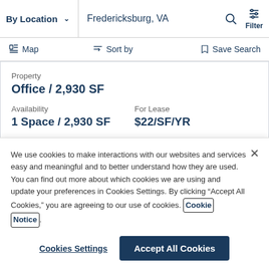By Location  Fredericksburg, VA  Filter
Map  Sort by  Save Search
Property
Office /  2,930 SF
Availability
1 Space /  2,930 SF
For Lease
$22/SF/YR
We use cookies to make interactions with our websites and services easy and meaningful and to better understand how they are used. You can find out more about which cookies we are using and update your preferences in Cookies Settings. By clicking “Accept All Cookies,” you are agreeing to our use of cookies. Cookie Notice.
Cookies Settings  Accept All Cookies